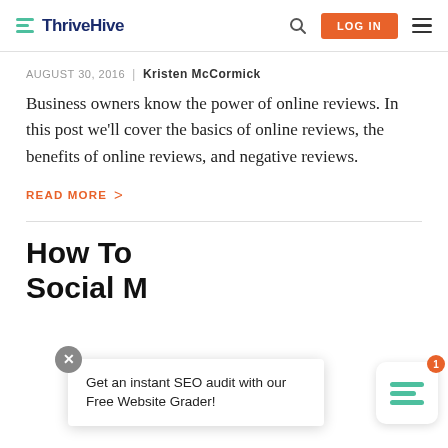ThriveHive — LOG IN
AUGUST 30, 2016 | Kristen McCormick
Business owners know the power of online reviews. In this post we'll cover the basics of online reviews, the benefits of online reviews, and negative reviews.
READ MORE >
How To … rs Social M…
Get an instant SEO audit with our Free Website Grader!